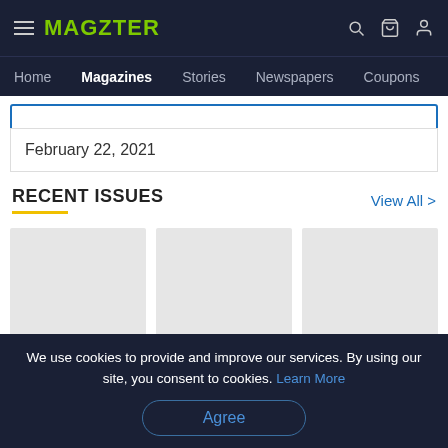MAGZTER — Home | Magazines | Stories | Newspapers | Coupons
February 22, 2021
RECENT ISSUES
View All >
[Figure (other): Three magazine cover thumbnails (gray placeholders) in a row under Recent Issues]
We use cookies to provide and improve our services. By using our site, you consent to cookies. Learn More
Agree